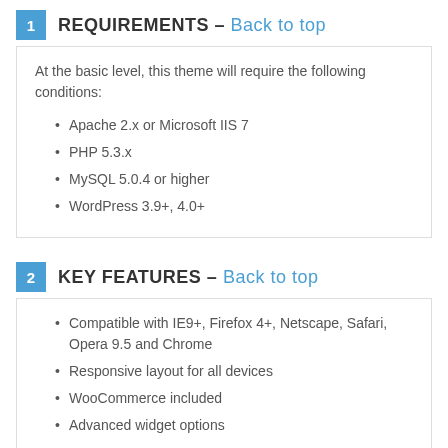1 REQUIREMENTS – Back to top
At the basic level, this theme will require the following conditions:
Apache 2.x or Microsoft IIS 7
PHP 5.3.x
MySQL 5.0.4 or higher
WordPress 3.9+, 4.0+
2 KEY FEATURES – Back to top
Compatible with IE9+, Firefox 4+, Netscape, Safari, Opera 9.5 and Chrome
Responsive layout for all devices
WooCommerce included
Advanced widget options